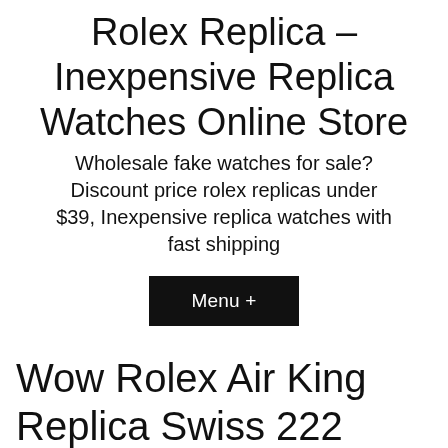Rolex Replica – Inexpensive Replica Watches Online Store
Wholesale fake watches for sale? Discount price rolex replicas under $39, Inexpensive replica watches with fast shipping
Menu +
Wow Rolex Air King Replica Swiss 222